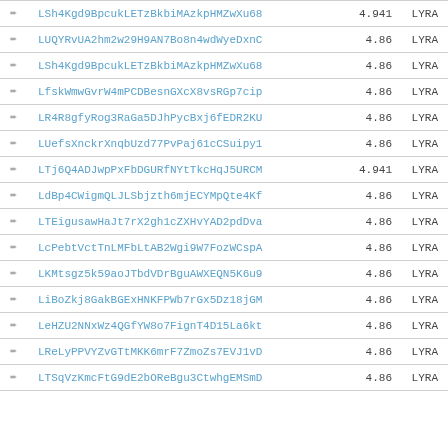|  | Address | Score | Label |
| --- | --- | --- | --- |
| ➨ | LSh4Kgd9BpcukLETzBkbiMAzkpHMZwXu68 | 4.941 | LYRA |
| ➨ | LUQYRvUA2hm2w29H9AN7Bo8n4wdWyeDxnC | 4.86 | LYRA |
| ➨ | LSh4Kgd9BpcukLETzBkbiMAzkpHMZwXu68 | 4.86 | LYRA |
| ➨ | LfskWmwGvrW4mPCDBesnGXcX8vsRGp7cip | 4.86 | LYRA |
| ➨ | LR4R8gfyRog3RaGa5DJhPycBxj6fEDR2KU | 4.86 | LYRA |
| ➨ | LUefsXnckrXnqbUzd77PvPaj61cCSuipy1 | 4.86 | LYRA |
| ➨ | LTj6Q4ADJwpPxFbDGURfNYtTkcHqJ5URCM | 4.941 | LYRA |
| ➨ | LdBp4CWigmQLJLSbjzth6mjECYMpQte4Kf | 4.86 | LYRA |
| ➨ | LTEigusawHaJt7rX2gh1cZXHvYAD2pdDva | 4.86 | LYRA |
| ➨ | LcPebtVctTnLMFbLtAB2Wgi9W7FozWCspA | 4.86 | LYRA |
| ➨ | LKMtsgz5k59aoJTbdVDrBguAWXEQN5K6u9 | 4.86 | LYRA |
| ➨ | LiBoZkj8GakBGExHNKFPWb7rGx5Dz18jGM | 4.86 | LYRA |
| ➨ | LeHZU2NNxWz4QGfYW8o7FignT4D15La6kt | 4.86 | LYRA |
| ➨ | LReLyPPVYZvGTtMKK6mrF7ZmoZs7EVJ1vD | 4.86 | LYRA |
| ➨ | LTSqVzKmcFtG9dE2bOReBgu3CtwhgEMSmD | 4.86 | LYRA |